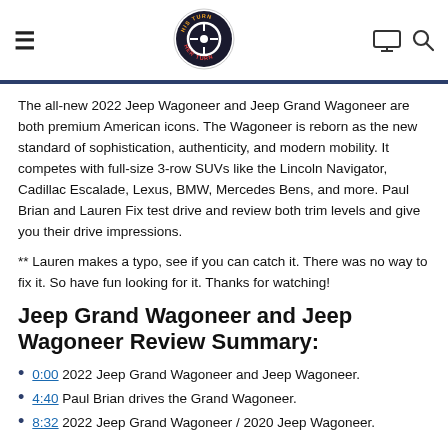HisTurnHerTurn logo with hamburger menu, monitor icon, and search icon
The all-new 2022 Jeep Wagoneer and Jeep Grand Wagoneer are both premium American icons. The Wagoneer is reborn as the new standard of sophistication, authenticity, and modern mobility. It competes with full-size 3-row SUVs like the Lincoln Navigator, Cadillac Escalade, Lexus, BMW, Mercedes Bens, and more. Paul Brian and Lauren Fix test drive and review both trim levels and give you their drive impressions.
** Lauren makes a typo, see if you can catch it. There was no way to fix it. So have fun looking for it. Thanks for watching!
Jeep Grand Wagoneer and Jeep Wagoneer Review Summary:
0:00 2022 Jeep Grand Wagoneer and Jeep Wagoneer.
4:40 Paul Brian drives the Grand Wagoneer.
8:32 2022 Jeep Grand Wagoneer / 2020 Jeep Wagoneer.